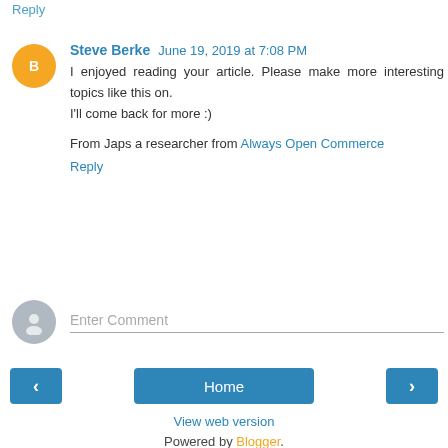Reply
Steve Berke  June 19, 2019 at 7:08 PM
I enjoyed reading your article. Please make more interesting topics like this on.
I'll come back for more :)
From Japs a researcher from Always Open Commerce
Reply
Enter Comment
Home
View web version
Powered by Blogger.